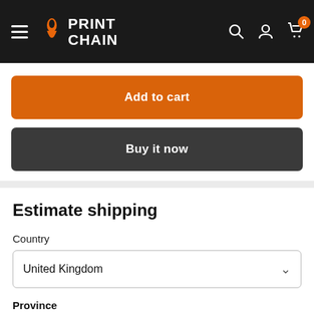PRINT CHAIN — navigation bar with logo, hamburger menu, search, account, and cart icons
Add to cart
Buy it now
Estimate shipping
Country
United Kingdom
Province
British Forces